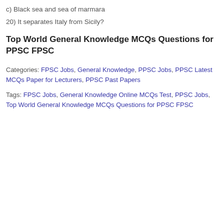c) Black sea and sea of marmara
20) It separates Italy from Sicily?
Top World General Knowledge MCQs Questions for PPSC FPSC
Categories: FPSC Jobs, General Knowledge, PPSC Jobs, PPSC Latest MCQs Paper for Lecturers, PPSC Past Papers
Tags: FPSC Jobs, General Knowledge Online MCQs Test, PPSC Jobs, Top World General Knowledge MCQs Questions for PPSC FPSC